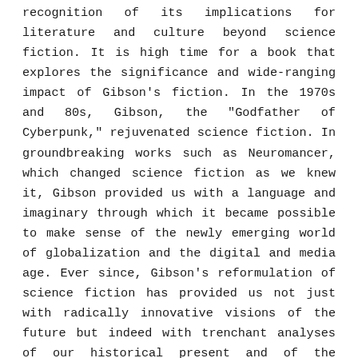recognition of its implications for literature and culture beyond science fiction. It is high time for a book that explores the significance and wide-ranging impact of Gibson's fiction. In the 1970s and 80s, Gibson, the "Godfather of Cyberpunk," rejuvenated science fiction. In groundbreaking works such as Neuromancer, which changed science fiction as we knew it, Gibson provided us with a language and imaginary through which it became possible to make sense of the newly emerging world of globalization and the digital and media age. Ever since, Gibson's reformulation of science fiction has provided us not just with radically innovative visions of the future but indeed with trenchant analyses of our historical present and of the emergence and exhaustion of possible futures. Contributors: Maria Alberto, Andrew M. Butler, Amy J. Elias, Christian Haines, Kylie Korsnack, Mathias Nilges, Malka Older, Aron Pease